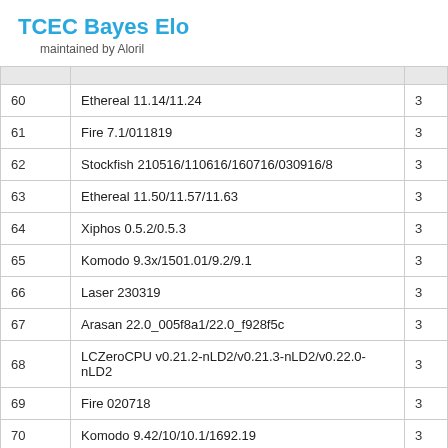TCEC Bayes Elo
maintained by Aloril
| # | Engine |  |
| --- | --- | --- |
| 60 | Ethereal 11.14/11.24 | 3 |
| 61 | Fire 7.1/011819 | 3 |
| 62 | Stockfish 210516/110616/160716/030916/8 | 3 |
| 63 | Ethereal 11.50/11.57/11.63 | 3 |
| 64 | Xiphos 0.5.2/0.5.3 | 3 |
| 65 | Komodo 9.3x/1501.01/9.2/9.1 | 3 |
| 66 | Laser 230319 | 3 |
| 67 | Arasan 22.0_005f8a1/22.0_f928f5c | 3 |
| 68 | LCZeroCPU v0.21.2-nLD2/v0.21.3-nLD2/v0.22.0-nLD2 | 3 |
| 69 | Fire 020718 | 3 |
| 70 | Komodo 9.42/10/10.1/1692.19 | 3 |
| 71 | KomodoMCTS 2180.00/2210.00/2217.00/2221.00/2227.00/2246.00 | 3 |
| 72 | Chiron 251017/040917 | 3 |